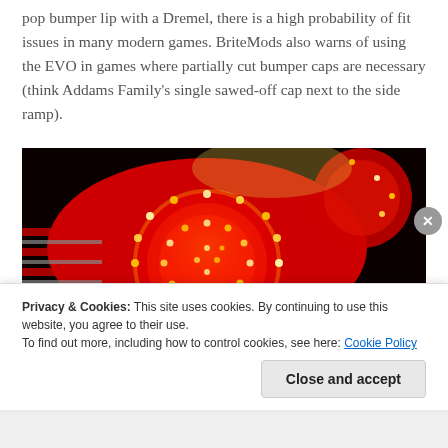pop bumper lip with a Dremel, there is a high probability of fit issues in many modern games. BriteMods also warns of using the EVO in games where partially cut bumper caps are necessary (think Addams Family's single sawed-off cap next to the side ramp).
[Figure (photo): Close-up photo of a glowing red pinball machine pop bumper with yellow LED lights visible through the translucent red dome, surrounded by colorful playfield elements.]
Privacy & Cookies: This site uses cookies. By continuing to use this website, you agree to their use.
To find out more, including how to control cookies, see here: Cookie Policy
Close and accept